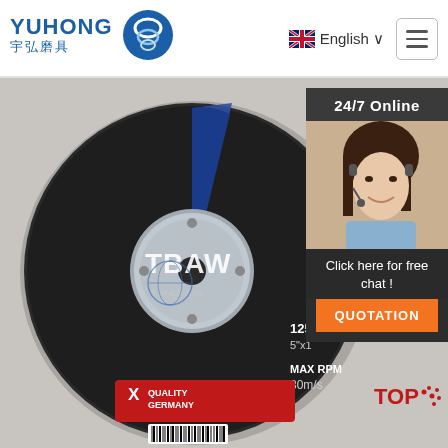[Figure (logo): Yuhong brand logo with Chinese characters 宇弘磨具 and blue circular wave icon]
English ∨
[Figure (photo): TBAW brand cutting/grinding disc (angle grinder wheel), black with blue stripe, X Quality Germany label, MAX RPM 80m/s, 125x, 5 inch]
24/7 Online
[Figure (photo): Customer service representative woman with headset smiling]
Click here for free chat !
QUOTATION
TOP